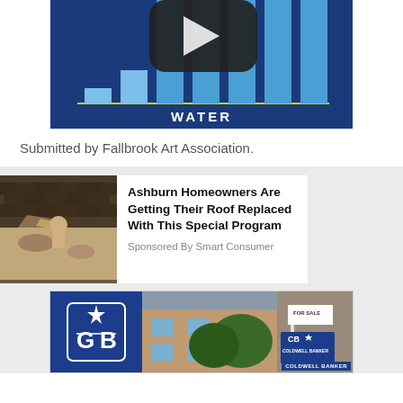[Figure (illustration): Partial bar chart on dark blue background with the word WATER on x-axis, bars in light blue, with a play button icon overlay at the top]
Submitted by Fallbrook Art Association.
[Figure (photo): Advertisement card showing a damaged roof photo on the left and text 'Ashburn Homeowners Are Getting Their Roof Replaced With This Special Program' with 'Sponsored By Smart Consumer' below]
[Figure (photo): Coldwell Banker real estate advertisement showing CB logo signs in front of a house]